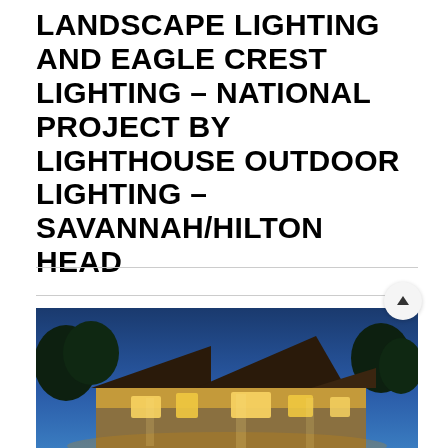LANDSCAPE LIGHTING AND EAGLE CREST LIGHTING – NATIONAL PROJECT BY LIGHTHOUSE OUTDOOR LIGHTING – SAVANNAH/HILTON HEAD
[Figure (photo): A house illuminated with landscape lighting at dusk/night, showing warm lights on the facade against a deep blue sky with trees in the background.]